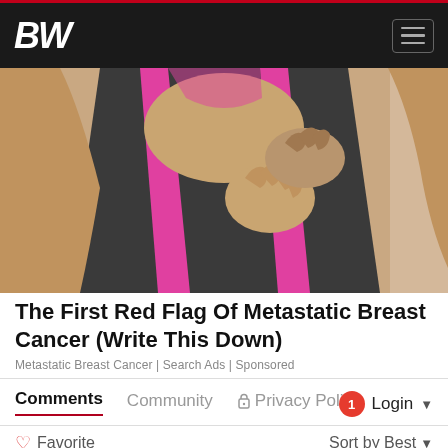BW
[Figure (photo): A person wearing a dark gray and pink sports bra/tank top, with one hand placed on their chest near the breast area, suggesting breast cancer awareness or self-examination.]
The First Red Flag Of Metastatic Breast Cancer (Write This Down)
Metastatic Breast Cancer | Search Ads | Sponsored
Comments
Community
🔒 Privacy Policy
1 Login ▾
♡ Favorite
Sort by Best ▾